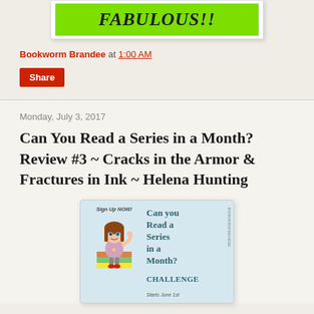[Figure (illustration): Green banner with text FABULOUS!! in italic bold font inside a white card with shadow]
Bookworm Brandee at 1:00 AM
Share
Monday, July 3, 2017
Can You Read a Series in a Month? Review #3 ~ Cracks in the Armor & Fractures in Ink ~ Helena Hunting
[Figure (illustration): Book challenge promotional image with cartoon girl sitting on books, text: Sign Up NOW! Can You Read a Series in a Month? Challenge Starts June 1st]